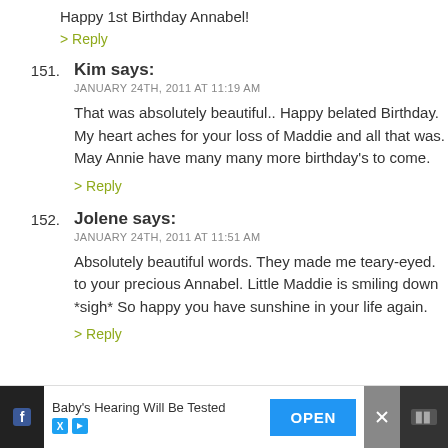Happy 1st Birthday Annabel!
> Reply
151. Kim says: JANUARY 24TH, 2011 AT 11:19 AM
That was absolutely beautiful.. Happy belated Birthday. My heart aches for your loss of Maddie and all that was. May Annie have many many more birthday's to come.
> Reply
152. Jolene says: JANUARY 24TH, 2011 AT 11:51 AM
Absolutely beautiful words. They made me teary-eyed. to your precious Annabel. Little Maddie is smiling down. *sigh* So happy you have sunshine in your life again.
> Reply